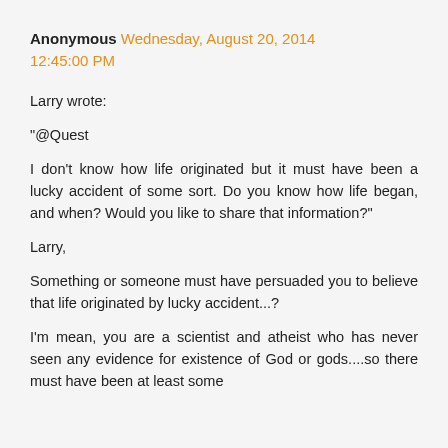Anonymous Wednesday, August 20, 2014 12:45:00 PM
Larry wrote:

"@Quest

I don't know how life originated but it must have been a lucky accident of some sort. Do you know how life began, and when? Would you like to share that information?"

Larry,

Something or someone must have persuaded you to believe that life originated by lucky accident...?

I'm mean, you are a scientist and atheist who has never seen any evidence for existence of God or gods....so there must have been at least some